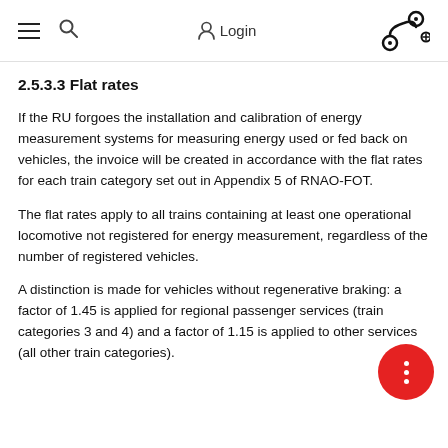≡  🔍  Login  [route icon]
2.5.3.3 Flat rates
If the RU forgoes the installation and calibration of energy measurement systems for measuring energy used or fed back on vehicles, the invoice will be created in accordance with the flat rates for each train category set out in Appendix 5 of RNAO-FOT.
The flat rates apply to all trains containing at least one operational locomotive not registered for energy measurement, regardless of the number of registered vehicles.
A distinction is made for vehicles without regenerative braking: a factor of 1.45 is applied for regional passenger services (train categories 3 and 4) and a factor of 1.15 is applied to other services (all other train categories).